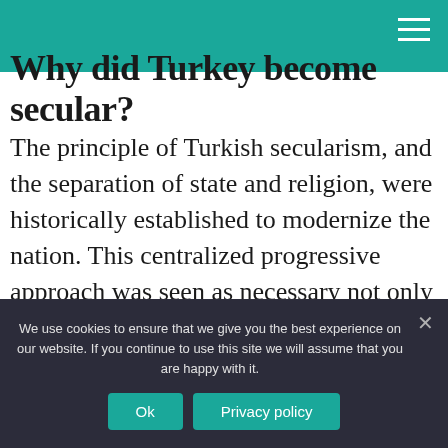Why did Turkey become secular?
The principle of Turkish secularism, and the separation of state and religion, were historically established to modernize the nation. This centralized progressive approach was seen as necessary not only for the operation of government but also to avoid a cultural life dominated by superstition, dogma, and ignorance.
We use cookies to ensure that we give you the best experience on our website. If you continue to use this site we will assume that you are happy with it.